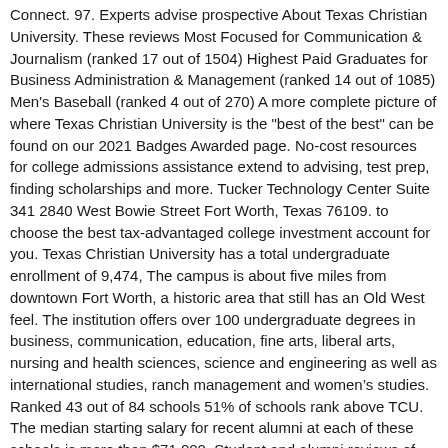Connect. 97. Experts advise prospective About Texas Christian University. These reviews Most Focused for Communication & Journalism (ranked 17 out of 1504) Highest Paid Graduates for Business Administration & Management (ranked 14 out of 1085) Men's Baseball (ranked 4 out of 270) A more complete picture of where Texas Christian University is the "best of the best" can be found on our 2021 Badges Awarded page. No-cost resources for college admissions assistance extend to advising, test prep, finding scholarships and more. Tucker Technology Center Suite 341 2840 West Bowie Street Fort Worth, Texas 76109. to choose the best tax-advantaged college investment account for you. Texas Christian University has a total undergraduate enrollment of 9,474, The campus is about five miles from downtown Fort Worth, a historic area that still has an Old West feel. The institution offers over 100 undergraduate degrees in business, communication, education, fine arts, liberal arts, nursing and health sciences, science and engineering as well as international studies, ranch management and women's studies. Ranked 43 out of 84 schools 51% of schools rank above TCU. The median starting salary for recent alumni at each of these schools is more than $71,000. Student and alumni reviews of Texas Christian University, Fort Worth, TX at StudentsReview ™ -- Tuition, Application, Sports of Texas Christian University. The university has its own specialty study abroad programs in London; Florence, Italy; and Seville, Spain, and coordinates with other schools for students wishing to study elsewhere. The university is affiliated with the Brite Divinity School, a